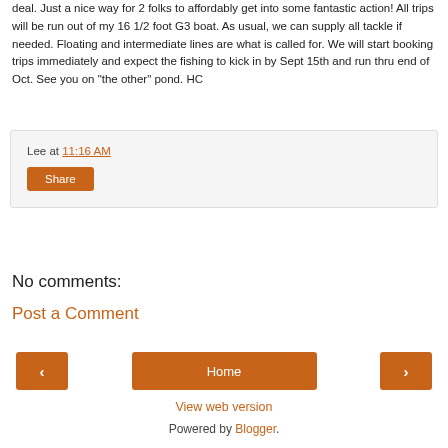deal. Just a nice way for 2 folks to affordably get into some fantastic action! All trips will be run out of my 16 1/2 foot G3 boat. As usual, we can supply all tackle if needed. Floating and intermediate lines are what is called for. We will start booking trips immediately and expect the fishing to kick in by Sept 15th and run thru end of Oct. See you on "the other" pond. HC
Lee at 11:16 AM
Share
No comments:
Post a Comment
‹
Home
›
View web version
Powered by Blogger.